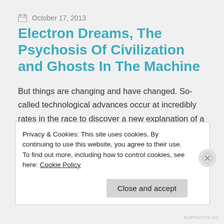October 17, 2013
Electron Dreams, The Psychosis Of Civilization and Ghosts In The Machine
But things are changing and have changed. So-called technological advances occur at incredibly rates in the race to discover a new explanation of a previous discovery or the race to prove that a
Privacy & Cookies: This site uses cookies. By continuing to use this website, you agree to their use.
To find out more, including how to control cookies, see here: Cookie Policy
Close and accept